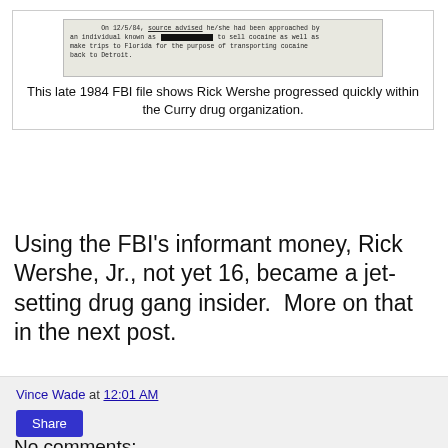[Figure (screenshot): Scanned FBI document excerpt from 12/5/84, with a redacted name, describing source being approached to sell cocaine and make trips to Florida to transport cocaine back to Detroit.]
This late 1984 FBI file shows Rick Wershe progressed quickly within the Curry drug organization.
Using the FBI’s informant money, Rick Wershe, Jr., not yet 16, became a jet-setting drug gang insider. More on that in the next post.
Vince Wade at 12:01 AM
No comments:
Post a Comment